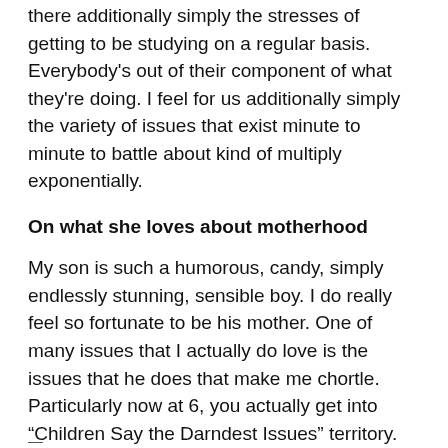there additionally simply the stresses of getting to be studying on a regular basis. Everybody's out of their component of what they're doing. I feel for us additionally simply the variety of issues that exist minute to minute to battle about kind of multiply exponentially.
On what she loves about motherhood
My son is such a humorous, candy, simply endlessly stunning, sensible boy. I do really feel so fortunate to be his mother. One of many issues that I actually do love is the issues that he does that make me chortle. Particularly now at 6, you actually get into “Children Say the Darndest Issues” territory.
Sam Briger and Thea Chaloner produced and edited the audio of this interview. Bridget Bentz, Molly Seavy-Nesper and Laurel Dalrymple tailored it for the Internet.